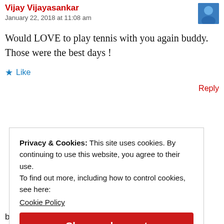Vijay Vijayasankar
January 22, 2018 at 11:08 am
Would LOVE to play tennis with you again buddy. Those were the best days !
Like
Reply
Privacy & Cookies: This site uses cookies. By continuing to use this website, you agree to their use.
To find out more, including how to control cookies, see here:
Cookie Policy
Close and accept
business, collegue of Prof.Srikumar